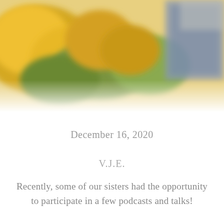[Figure (photo): Blurred photo of yellow flowers and green foliage, with a partial view of a blue book or notebook in the upper right corner. The image is soft-focused and warm-toned.]
December 16, 2020
V.J.E.
Recently, some of our sisters had the opportunity to participate in a few podcasts and talks!